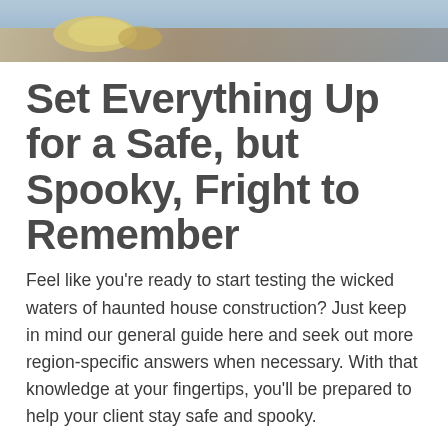[Figure (photo): Top strip of a photo showing blurred Halloween-themed objects with a blue-grey background, partial view of what appears to be food or decorations.]
Set Everything Up for a Safe, but Spooky, Fright to Remember
Feel like you’re ready to start testing the wicked waters of haunted house construction? Just keep in mind our general guide here and seek out more region-specific answers when necessary. With that knowledge at your fingertips, you’ll be prepared to help your client stay safe and spooky.